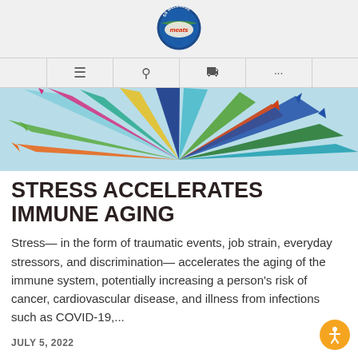[Figure (logo): SS Wellness Meats circular logo with globe and arrow design]
≡  🔍  🛒  ...
[Figure (illustration): Colorful arrows radiating outward from center on a light blue background — decorative hero image]
STRESS ACCELERATES IMMUNE AGING
Stress— in the form of traumatic events, job strain, everyday stressors, and discrimination— accelerates the aging of the immune system, potentially increasing a person's risk of cancer, cardiovascular disease, and illness from infections such as COVID-19,...
JULY 5, 2022